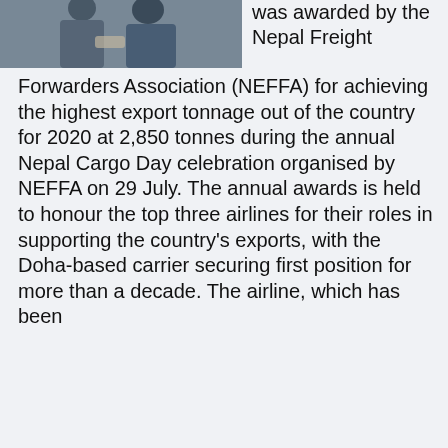[Figure (photo): Two men in suits, one handing an award or document to the other, photographed at an indoor event.]
was awarded by the Nepal Freight Forwarders Association (NEFFA) for achieving the highest export tonnage out of the country for 2020 at 2,850 tonnes during the annual Nepal Cargo Day celebration organised by NEFFA on 29 July. The annual awards is held to honour the top three airlines for their roles in supporting the country's exports, with the Doha-based carrier securing first position for more than a decade. The airline, which has been
We use cookies and similar technologies to improve your browsing experience.
Continuing to use this site means you agree to our use of cookies.   Read More